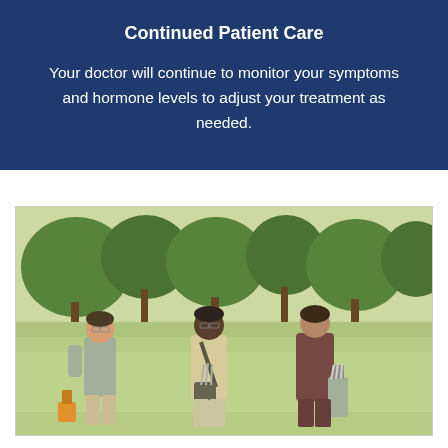Continued Patient Care
Your doctor will continue to monitor your symptoms and hormone levels to adjust your treatment as needed.
[Figure (photo): Three men smiling and talking on a golf course, carrying golf bags, on a sunny day with trees in the background.]